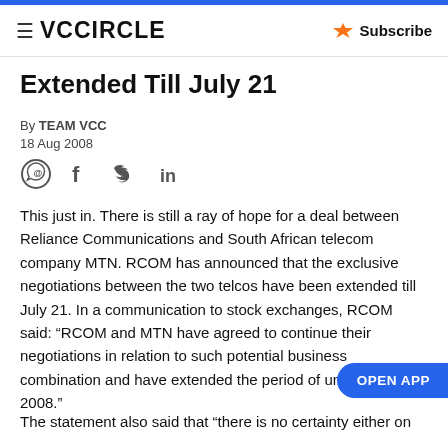VCCiRCLE | Subscribe
Extended Till July 21
By TEAM VCC
18 Aug 2008
This just in. There is still a ray of hope for a deal between Reliance Communications and South African telecom company MTN. RCOM has announced that the exclusive negotiations between the two telcos have been extended till July 21. In a communication to stock exchanges, RCOM said: “RCOM and MTN have agreed to continue their negotiations in relation to such potential business combination and have extended the period of until July 21, 2008.”
The statement also said that “there is no certainty either on